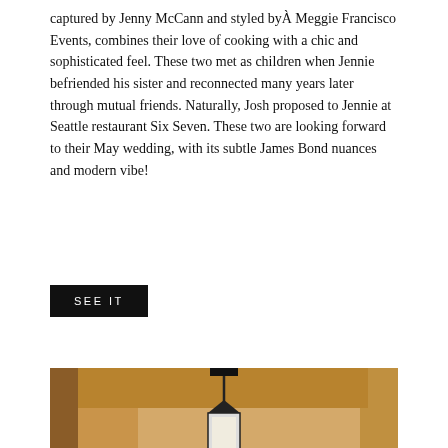captured by Jenny McCann and styled byÂ Meggie Francisco Events, combines their love of cooking with a chic and sophisticated feel. These two met as children when Jennie befriended his sister and reconnected many years later through mutual friends. Naturally, Josh proposed to Jennie at Seattle restaurant Six Seven. These two are looking forward to their May wedding, with its subtle James Bond nuances and modern vibe!
SEE IT
[Figure (photo): A couple kissing under warm golden arched colonnade with hanging lanterns, viewed through receding arches. The architecture has a Mediterranean/Spanish mission style with warm sandy tones.]